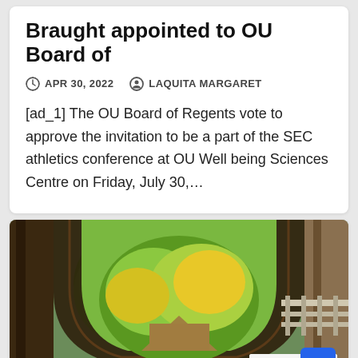Braught appointed to OU Board of
APR 30, 2022   LAQUITA MARGARET
[ad_1] The OU Board of Regents vote to approve the invitation to be a part of the SEC athletics conference at OU Well being Sciences Centre on Friday, July 30,...
[Figure (photo): Interior view of a covered wooden bridge with arched opening revealing colorful autumn foliage and trees outside. A white railing is visible on the right. A calendar or paper item is partially visible in the lower right corner.]